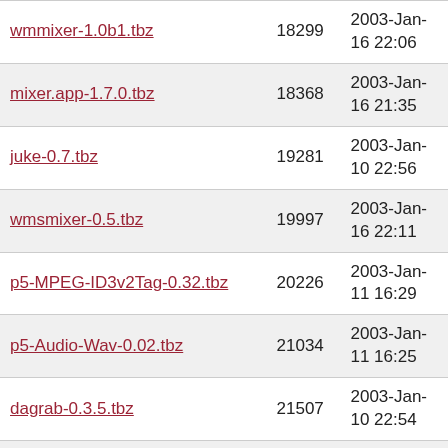| Name | Size | Date |
| --- | --- | --- |
| wmmixer-1.0b1.tbz | 18299 | 2003-Jan-16 22:06 |
| mixer.app-1.7.0.tbz | 18368 | 2003-Jan-16 21:35 |
| juke-0.7.tbz | 19281 | 2003-Jan-10 22:56 |
| wmsmixer-0.5.tbz | 19997 | 2003-Jan-16 22:11 |
| p5-MPEG-ID3v2Tag-0.32.tbz | 20226 | 2003-Jan-11 16:29 |
| p5-Audio-Wav-0.02.tbz | 21034 | 2003-Jan-11 16:25 |
| dagrab-0.3.5.tbz | 21507 | 2003-Jan-10 22:54 |
| chordpack-0.8.0.tbz | 21719 | 2003-Jan-10 22:54 |
| wmcdplay-1.0b1.tbz | 22237 | 2003-Jan-16 21:56 |
| mp3asm-0.1.3.1.tbz | 23061 | 2003-Jan-12 12:21 |
| ruby-audiofile-0.2.1.tbz | 23636 | 2003-Jan-14 03:29 |